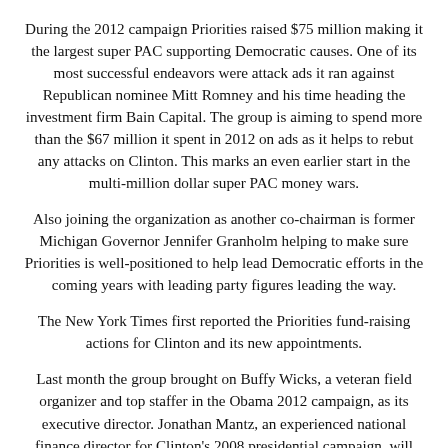During the 2012 campaign Priorities raised $75 million making it the largest super PAC supporting Democratic causes. One of its most successful endeavors were attack ads it ran against Republican nominee Mitt Romney and his time heading the investment firm Bain Capital. The group is aiming to spend more than the $67 million it spent in 2012 on ads as it helps to rebut any attacks on Clinton. This marks an even earlier start in the multi-million dollar super PAC money wars.
Also joining the organization as another co-chairman is former Michigan Governor Jennifer Granholm helping to make sure Priorities is well-positioned to help lead Democratic efforts in the coming years with leading party figures leading the way.
The New York Times first reported the Priorities fund-raising actions for Clinton and its new appointments.
Last month the group brought on Buffy Wicks, a veteran field organizer and top staffer in the Obama 2012 campaign, as its executive director. Jonathan Mantz, an experienced national finance director for Clinton's 2008 presidential campaign, will join as senior finance adviser.
One thing political experts will be watching is how Priorities operates, as a separate group called Ready for Hillary is already